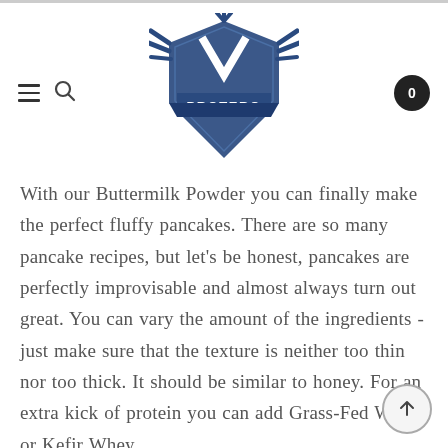[Figure (logo): Protero brand logo — a shield shape with 'PROTERO' text in white on dark blue, with decorative wings/rays above]
With our Buttermilk Powder you can finally make the perfect fluffy pancakes. There are so many pancake recipes, but let's be honest, pancakes are perfectly improvisable and almost always turn out great. You can vary the amount of the ingredients - just make sure that the texture is neither too thin nor too thick. It should be similar to honey. For an extra kick of protein you can add Grass-Fed Whey or Kefir Whey.